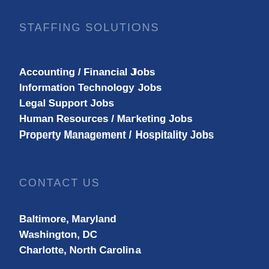STAFFING SOLUTIONS
Accounting / Financial Jobs
Information Technology Jobs
Legal Support Jobs
Human Resources / Marketing Jobs
Property Management / Hospitality Jobs
CONTACT US
Baltimore, Maryland
Washington, DC
Charlotte, North Carolina